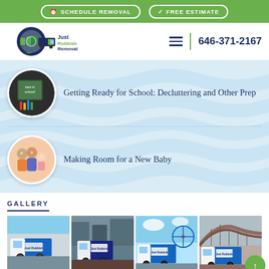SCHEDULE REMOVAL | FREE ESTIMATE
[Figure (logo): Just Rubbish Removal logo with truck and bins]
646-371-2167
[Figure (illustration): Circular thumbnail of a chalkboard with 'back to school' text and school supplies]
Getting Ready for School: Decluttering and Other Prep
[Figure (photo): Circular thumbnail of a family with a baby]
Making Room for a New Baby
GALLERY
[Figure (photo): Gallery of four photos showing Just Rubbish Removal trucks in various NYC locations]